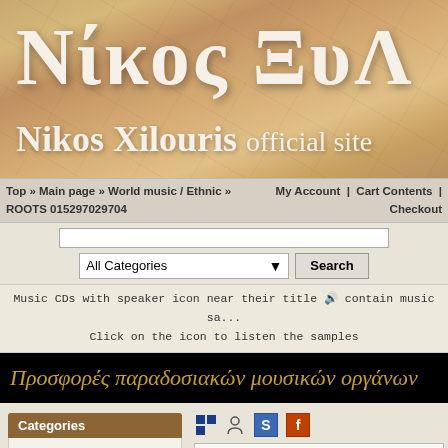[Figure (illustration): Website header banner with crackled parchment texture background showing Greek and Latin text for 'Nikos Xilouris official site']
Top » Main page » World music / Ethnic » ROOTS 015297029704 | My Account | Cart Contents | Checkout
[Figure (screenshot): Search bar with All Categories dropdown and Search button]
Music CDs with speaker icon near their title contain music samples. Click on the icon to listen the samples
Προσφορές παραδοσιακών μουσικών οργάνων
Categories
New releases
Nikos Xilouris
Composers
It happens, b...